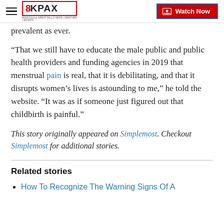8KPAX | Watch Now
prevalent as ever.
“That we still have to educate the male public and public health providers and funding agencies in 2019 that menstrual pain is real, that it is debilitating, and that it disrupts women’s lives is astounding to me,” he told the website. “It was as if someone just figured out that childbirth is painful.”
This story originally appeared on Simplemost. Checkout Simplemost for additional stories.
Related stories
How To Recognize The Warning Signs Of A